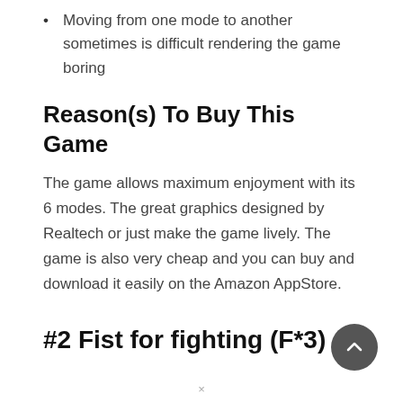Moving from one mode to another sometimes is difficult rendering the game boring
Reason(s) To Buy This Game
The game allows maximum enjoyment with its 6 modes. The great graphics designed by Realtech or just make the game lively. The game is also very cheap and you can buy and download it easily on the Amazon AppStore.
#2 Fist for fighting (F*3)